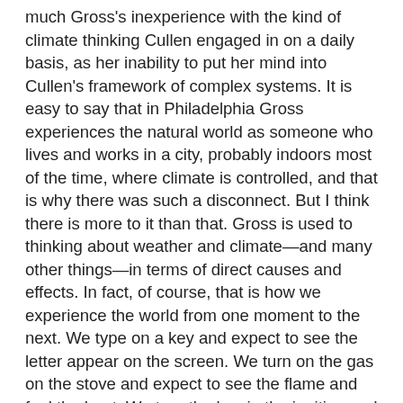much Gross's inexperience with the kind of climate thinking Cullen engaged in on a daily basis, as her inability to put her mind into Cullen's framework of complex systems. It is easy to say that in Philadelphia Gross experiences the natural world as someone who lives and works in a city, probably indoors most of the time, where climate is controlled, and that is why there was such a disconnect. But I think there is more to it than that. Gross is used to thinking about weather and climate—and many other things—in terms of direct causes and effects. In fact, of course, that is how we experience the world from one moment to the next. We type on a key and expect to see the letter appear on the screen. We turn on the gas on the stove and expect to see the flame and feel the heat. We turn the key in the ignition and expect the car to start, even though we know that many things have to be set in operation, whether in the computer, the stove, or the automobile.
    Complex systems thinking is something we engage in, if we do so at all, when our normal understanding of cause and effect breaks down. The appliance doesn't operate as it should—why not? It could be this, it could be that; we “troubleshoot” and suddenly become aware of the many